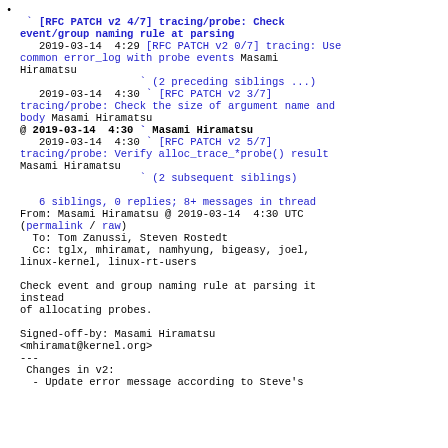[RFC PATCH v2 4/7] tracing/probe: Check event/group naming rule at parsing
  2019-03-14  4:29 [RFC PATCH v2 0/7] tracing: Use common error_log with probe events Masami Hiramatsu
                   ` (2 preceding siblings ...)
  2019-03-14  4:30 ` [RFC PATCH v2 3/7] tracing/probe: Check the size of argument name and body Masami Hiramatsu
@ 2019-03-14  4:30 ` Masami Hiramatsu
  2019-03-14  4:30 ` [RFC PATCH v2 5/7] tracing/probe: Verify alloc_trace_*probe() result Masami Hiramatsu
                   ` (2 subsequent siblings)

  6 siblings, 0 replies; 8+ messages in thread
From: Masami Hiramatsu @ 2019-03-14  4:30 UTC
(permalink / raw)
  To: Tom Zanussi, Steven Rostedt
  Cc: tglx, mhiramat, namhyung, bigeasy, joel, linux-kernel, linux-rt-users

Check event and group naming rule at parsing it instead
of allocating probes.

Signed-off-by: Masami Hiramatsu
<mhiramat@kernel.org>
---
 Changes in v2:
  - Update error message according to Steve's
comment.